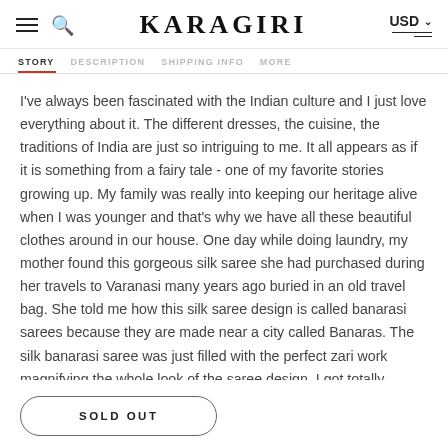KARAGIRI  USD
STORY  DESCRIPTION  SHIPPING INFO  MORE
I've always been fascinated with the Indian culture and I just love everything about it. The different dresses, the cuisine, the traditions of India are just so intriguing to me. It all appears as if it is something from a fairy tale - one of my favorite stories growing up. My family was really into keeping our heritage alive when I was younger and that's why we have all these beautiful clothes around in our house. One day while doing laundry, my mother found this gorgeous silk saree she had purchased during her travels to Varanasi many years ago buried in an old travel bag. She told me how this silk saree design is called banarasi sarees because they are made near a city called Banaras. The silk banarasi saree was just filled with the perfect zari work magnifying the whole look of the saree design. I got totally obsessed over the beautiful banarasi
SOLD OUT